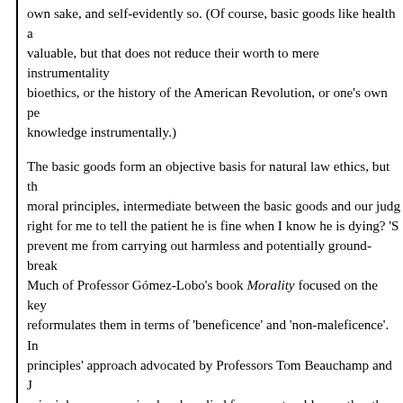own sake, and self-evidently so. (Of course, basic goods like health are also valuable, but that does not reduce their worth to mere instrumentality bioethics, or the history of the American Revolution, or one's own pe knowledge instrumentally.)
The basic goods form an objective basis for natural law ethics, but th moral principles, intermediate between the basic goods and our judg right for me to tell the patient he is fine when I know he is dying?' 'S prevent me from carrying out harmless and potentially ground-break Much of Professor Gómez-Lobo's book Morality focused on the key reformulates them in terms of 'beneficence' and 'non-maleficence'. In principles' approach advocated by Professors Tom Beauchamp and J principles are conceived and applied from a natural law, rather than f 'four principles' approach on the ground that it failed to give a substa account, he argued, it is impossible to judge what truly benefits or ha
In your book you suggest that, although natural law theory is comp grounded in religion. Can you explain?
Adherents of the great religions will find much in natural law that re insistence that all human beings share a fundamental equality-in-dig babies, people with profound intellectual disabilities, the comatose, t
For example, natural law theory's opposition to infanticide (in contra resonates with the long-standing opposition to infanticide in the Juda endorsement by the ancient Greeks and Romans). Natural law thik